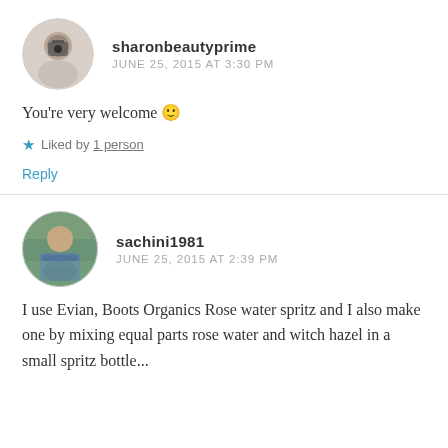[Figure (photo): Circular avatar photo of sharonbeautyprime — person holding a camera]
sharonbeautyprime
JUNE 25, 2015 AT 3:30 PM
You're very welcome 🙂
★ Liked by 1 person
Reply
[Figure (photo): Circular avatar photo of sachini1981 — woman outdoors near water]
sachini1981
JUNE 25, 2015 AT 2:39 PM
I use Evian, Boots Organics Rose water spritz and I also make one by mixing equal parts rose water and witch hazel in a small spritz bottle...